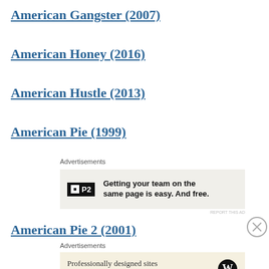American Gangster (2007)
American Honey (2016)
American Hustle (2013)
American Pie (1999)
Advertisements
[Figure (other): Advertisement for P2 by WordPress: Getting your team on the same page is easy. And free.]
REPORT THIS AD
American Pie 2 (2001)
Advertisements
[Figure (other): Advertisement for WordPress: Professionally designed sites in less than a week]
REPORT THIS AD